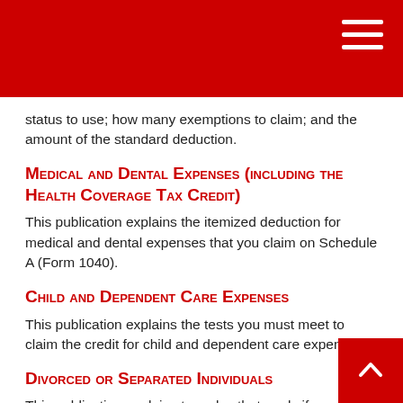status to use; how many exemptions to claim; and the amount of the standard deduction.
Medical and Dental Expenses (including the Health Coverage Tax Credit)
This publication explains the itemized deduction for medical and dental expenses that you claim on Schedule A (Form 1040).
Child and Dependent Care Expenses
This publication explains the tests you must meet to claim the credit for child and dependent care expenses.
Divorced or Separated Individuals
This publication explains tax rules that apply if you are divorced or separated from your spouse.